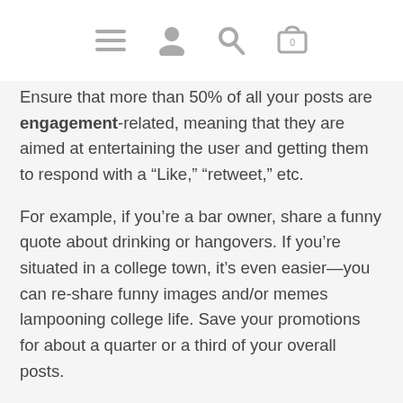[navigation icons: menu, user, search, cart]
Ensure that more than 50% of all your posts are engagement-related, meaning that they are aimed at entertaining the user and getting them to respond with a “Like,” “retweet,” etc.
For example, if you’re a bar owner, share a funny quote about drinking or hangovers. If you’re situated in a college town, it’s even easier—you can re-share funny images and/or memes lampooning college life. Save your promotions for about a quarter or a third of your overall posts.
3. Respond to all reviews. As a bar or restaurant, you’re going to receive a lot of reviews due to the wide array of products you